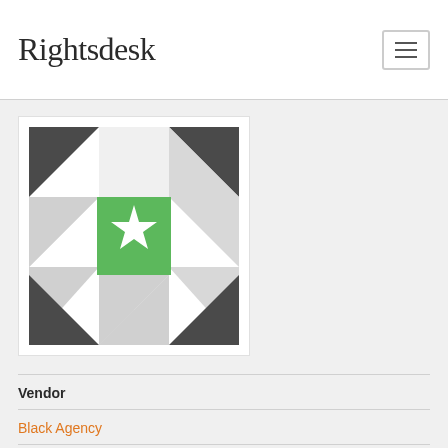Rightsdesk
[Figure (logo): Rightsdesk decorative star/pinwheel logo made of geometric triangles in dark grey, light grey, and green with a white star in the center green square]
Vendor
Black Agency
Published by